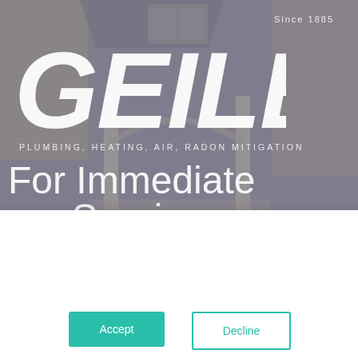[Figure (photo): Background photo of a house exterior with columns and arched entryway, muted color tones]
GEILER
Since 1885
PLUMBING, HEATING, AIR, RADON MITIGATION
For Immediate
Service
This website stores cookies on your computer. These cookies are used to collect information about how you interact with our website and allow us to remember you. We use this information in order to improve and customize your browsing experience and for analytics and metrics about our visitors both on this website and other media. To find out more about the cookies we use, see our Privacy Policy.
Accept
Decline